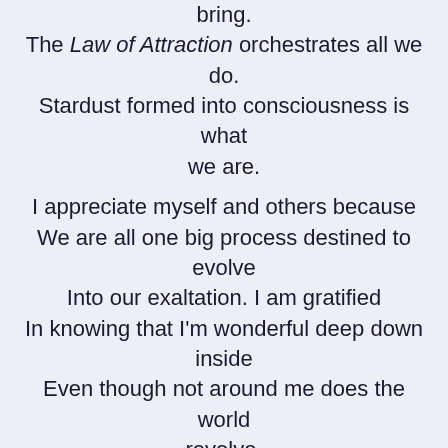bring.
The Law of Attraction orchestrates all we do.
Stardust formed into consciousness is what we are.

I appreciate myself and others because
We are all one big process destined to evolve
Into our exaltation. I am gratified
In knowing that I'm wonderful deep down inside
Even though not around me does the world revolve.
I'm subject happily to spiritual laws.

A bright light is shown upon what I've created.
More awakened I become with each brand